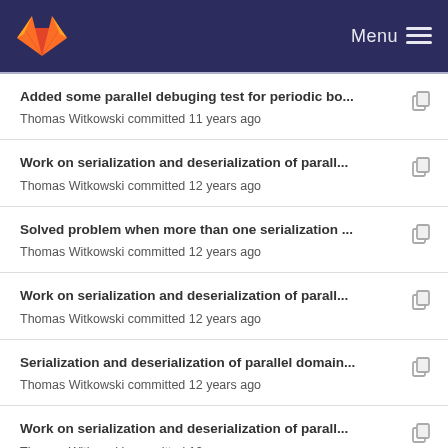GitLab — Menu
Added some parallel debuging test for periodic bo... — Thomas Witkowski committed 11 years ago
Work on serialization and deserialization of parall... — Thomas Witkowski committed 12 years ago
Solved problem when more than one serialization ... — Thomas Witkowski committed 12 years ago
Work on serialization and deserialization of parall... — Thomas Witkowski committed 12 years ago
Serialization and deserialization of parallel domain... — Thomas Witkowski committed 12 years ago
Work on serialization and deserialization of parall... — Thomas Witkowski committed 12 years ago
Serialization and deserialization of parallel domain... — Thomas Witkowski committed 12 years ago